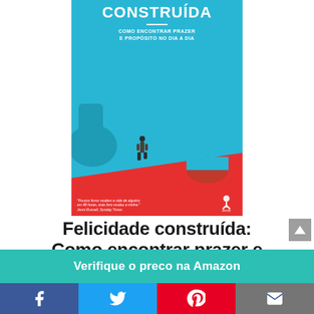[Figure (illustration): Book cover of 'Felicidade Construída: Como encontrar prazer e propósito no dia a dia'. Blue background with a person walking on a red floor, a blue shape on the left side, and a red bowl on the right. Quote by Jenni Russell, Sunday Times at the bottom.]
Felicidade construída: Como encontrar prazer e propósito no dia a dia
Verifique o preco na Amazon
Facebook | Twitter | Pinterest | Email